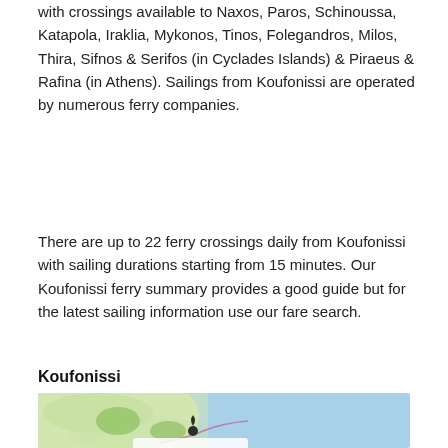with crossings available to Naxos, Paros, Schinoussa, Katapola, Iraklia, Mykonos, Tinos, Folegandros, Milos, Thira, Sifnos & Serifos (in Cyclades Islands) & Piraeus & Rafina (in Athens). Sailings from Koufonissi are operated by numerous ferry companies.
There are up to 22 ferry crossings daily from Koufonissi with sailing durations starting from 15 minutes. Our Koufonissi ferry summary provides a good guide but for the latest sailing information use our fare search.
Koufonissi
[Figure (map): A map showing the Koufonissi area with a location pin marker. The map shows a blurred/satellite-style view with blue sea to the right and green/tan land to the left. A dark pin marker is visible near the coast.]